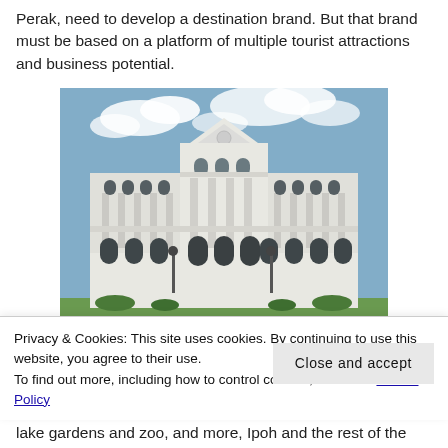Perak, need to develop a destination brand. But that brand must be based on a platform of multiple tourist attractions and business potential.
[Figure (photo): Photograph of a grand white colonial-style building with a blue sky background. The building has a classical facade with arched windows, columns, a triangular pediment, and symmetrical wings.]
Privacy & Cookies: This site uses cookies. By continuing to use this website, you agree to their use.
To find out more, including how to control cookies, see here: Cookie Policy
lake gardens and zoo, and more, Ipoh and the rest of the